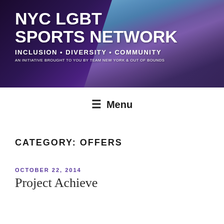[Figure (illustration): NYC LGBT Sports Network banner with purple/blue gradient background and athletes. White bold text reads 'NYC LGBT SPORTS NETWORK', 'INCLUSION • DIVERSITY • COMMUNITY', and 'AN INITIATIVE BROUGHT TO YOU BY TEAM NEW YORK & OUT OF BOUNDS']
≡ Menu
CATEGORY: OFFERS
OCTOBER 22, 2014
Project Achieve